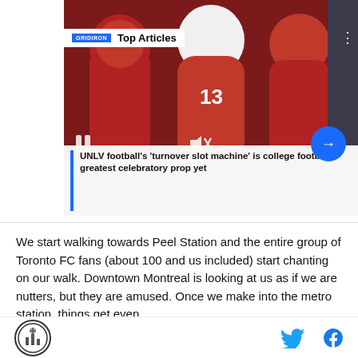[Figure (screenshot): Article card showing UNLV football players in red uniforms with a 'Top Articles' overlay bar, pause/mute/next media controls, and headline below with blue left border bar.]
UNLV football’s ‘turnover slot machine’ is college football’s greatest celebratory prop yet
We start walking towards Peel Station and the entire group of Toronto FC fans (about 100 and us included) start chanting on our walk. Downtown Montreal is looking at us as if we are nutters, but they are amused. Once we make into the metro station, things get even
Logo | Twitter | Facebook